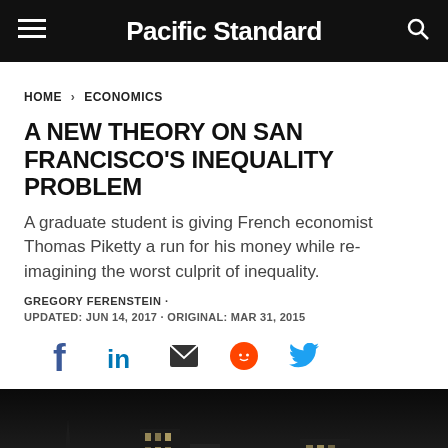Pacific Standard
HOME > ECONOMICS
A NEW THEORY ON SAN FRANCISCO'S INEQUALITY PROBLEM
A graduate student is giving French economist Thomas Piketty a run for his money while re-imagining the worst culprit of inequality.
GREGORY FERENSTEIN ·
UPDATED: JUN 14, 2017 · ORIGINAL: MAR 31, 2015
[Figure (infographic): Social share icons: Facebook, LinkedIn, Email, Reddit, Twitter]
[Figure (photo): Black and white photo of San Francisco city skyline at night]